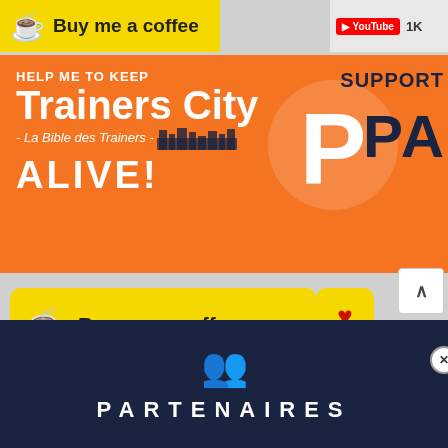[Figure (screenshot): Buy me a coffee yellow banner button at the top left]
[Figure (screenshot): YouTube button with 1K subscriber count at top right]
[Figure (screenshot): Orange Patreon support banner with text HELP ME TO KEEP Trainers City - La Bible des Trainers - ALIVE! and Patreon P logo with SUPPORT PA text]
[Figure (screenshot): Yellow Buy me a coffee button with heart badge showing 5 likes]
[Figure (screenshot): Orange ALERTE AUX VIRUS ? CLIQUEZ ICI button with bug icon]
[Figure (screenshot): Modern Warfare 2 Beta video popup with play button]
PARTENAIRES
[Figure (screenshot): Partners section footer with people icon and PARTENAIRES text]